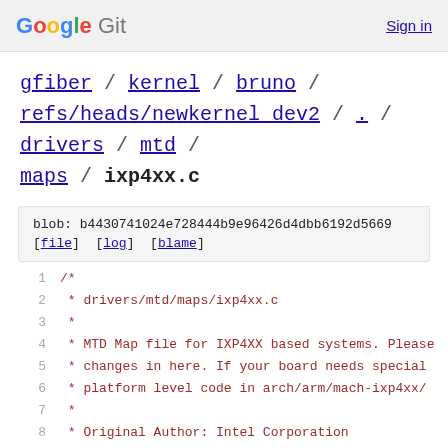Google Git  Sign in
gfiber / kernel / bruno / refs/heads/newkernel_dev2 / . / drivers / mtd / maps / ixp4xx.c
blob: b4430741024e728444b9e96426d4dbb6192d5669
[file]  [log]  [blame]
1   /*
2    * drivers/mtd/maps/ixp4xx.c
3    *
4    * MTD Map file for IXP4XX based systems. Please
5    * changes in here. If your board needs special
6    * platform level code in arch/arm/mach-ixp4xx/
7    *
8    * Original Author: Intel Corporation
9    * Maintainer: Deepak Saxena <dsaxena@mvista.com
10   *